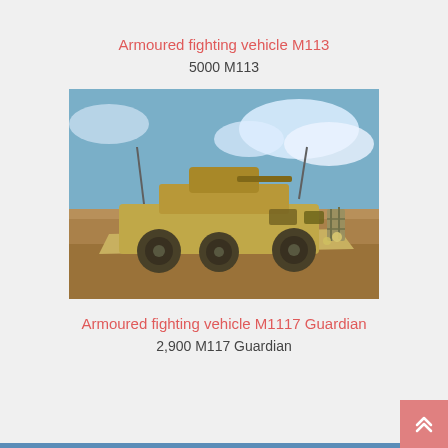Armoured fighting vehicle M113
5000 M113
[Figure (photo): Armoured fighting vehicle M113 — sandy/tan colored wheeled armored personnel carrier with turret, photographed outdoors on desert terrain with blue sky and clouds in background.]
Armoured fighting vehicle M1117 Guardian
2,900 M117 Guardian